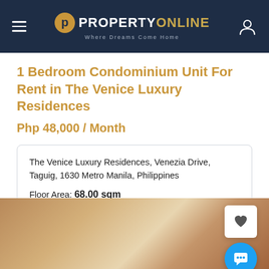PROPERTY ONLINE — Where Dreams Come Home
1 Bedroom Condominium Unit For Rent in The Venice Luxury Residences
Php 48,000 / Month
The Venice Luxury Residences, Venezia Drive, Taguig, 1630 Metro Manila, Philippines
Floor Area: 68.00 sqm
[Figure (photo): Blurred interior/exterior photo of property — warm brown and beige gradient tones]